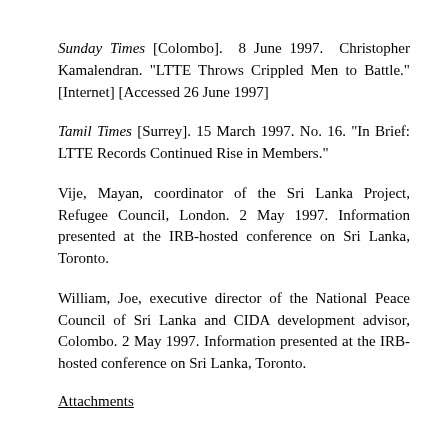Sunday Times [Colombo]. 8 June 1997. Christopher Kamalendran. "LTTE Throws Crippled Men to Battle." [Internet] [Accessed 26 June 1997]
Tamil Times [Surrey]. 15 March 1997. No. 16. "In Brief: LTTE Records Continued Rise in Members."
Vije, Mayan, coordinator of the Sri Lanka Project, Refugee Council, London. 2 May 1997. Information presented at the IRB-hosted conference on Sri Lanka, Toronto.
William, Joe, executive director of the National Peace Council of Sri Lanka and CIDA development advisor, Colombo. 2 May 1997. Information presented at the IRB-hosted conference on Sri Lanka, Toronto.
Attachments